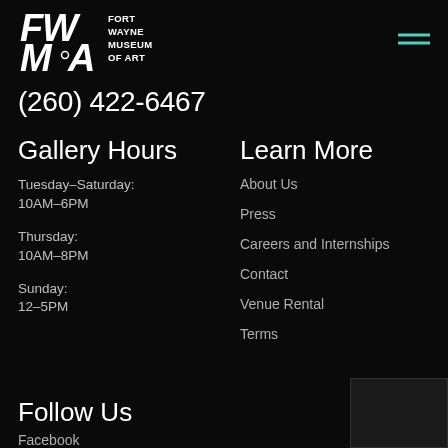[Figure (logo): Fort Wayne Museum of Art logo — stylized FWMA letters in white with museum name text]
(260) 422-6467
Gallery Hours
Tuesday–Saturday:
10AM–6PM
Thursday:
10AM–8PM
Sunday:
12–5PM
Learn More
About Us
Press
Careers and Internships
Contact
Venue Rental
Terms
Follow Us
Facebook